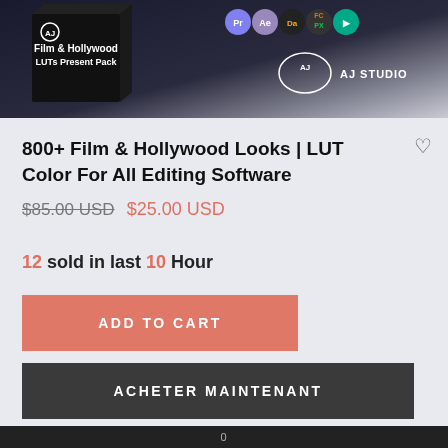[Figure (photo): Product image of a 3D black box labeled 'Film & Hollywood LUTs Present Pack' with software icons (Premiere Pro, After Effects, DaVinci Resolve, Final Cut Pro X) and AJ Studio branding on the right side, on a dark gradient background.]
800+ Film & Hollywood Looks | LUT Color For All Editing Software
$85.00 USD $25.00 USD
12 sold in last 10 Hour
ADD TO CART
ACHETER MAINTENANT